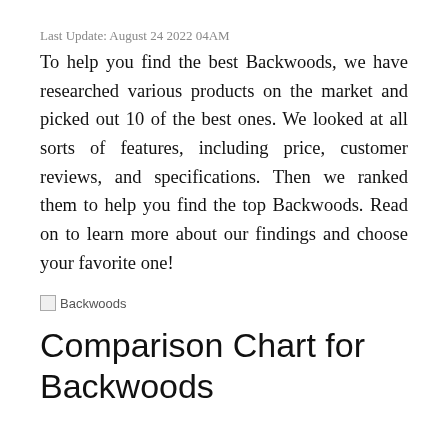Last Update: August 24 2022 04AM
To help you find the best Backwoods, we have researched various products on the market and picked out 10 of the best ones. We looked at all sorts of features, including price, customer reviews, and specifications. Then we ranked them to help you find the top Backwoods. Read on to learn more about our findings and choose your favorite one!
[Figure (illustration): Broken image placeholder with alt text 'Backwoods']
Comparison Chart for Backwoods